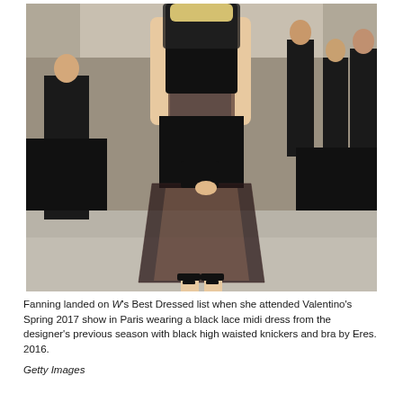[Figure (photo): A woman wearing a black lace midi dress with sheer skirt, black high-waisted knickers, and black strappy heeled sandals, holding a black clutch. She is photographed from behind at an outdoor event (Valentino Spring 2017 show in Paris). In the background are other attendees in black formal wear and a draped black table.]
Fanning landed on W's Best Dressed list when she attended Valentino's Spring 2017 show in Paris wearing a black lace midi dress from the designer's previous season with black high waisted knickers and bra by Eres. 2016.
Getty Images